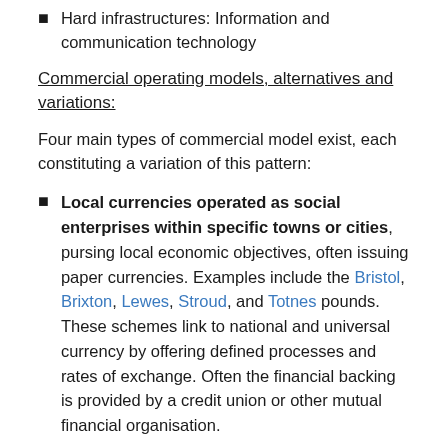Hard infrastructures: Information and communication technology
Commercial operating models, alternatives and variations:
Four main types of commercial model exist, each constituting a variation of this pattern:
Local currencies operated as social enterprises within specific towns or cities, pursing local economic objectives, often issuing paper currencies. Examples include the Bristol, Brixton, Lewes, Stroud, and Totnes pounds. These schemes link to national and universal currency by offering defined processes and rates of exchange. Often the financial backing is provided by a credit union or other mutual financial organisation.